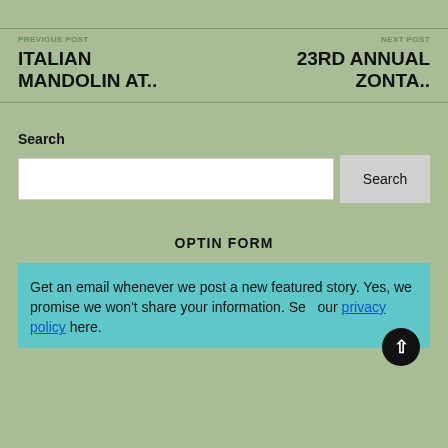PREVIOUS POST | NEXT POST
ITALIAN MANDOLIN AT..
23RD ANNUAL ZONTA..
Search
OPTIN FORM
Get an email whenever we post a new featured story. Yes, we promise we won't share your information. See our privacy policy here.